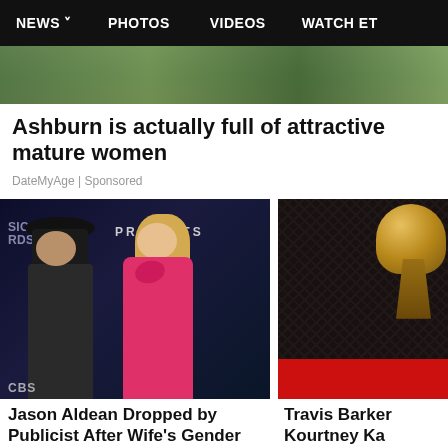NEWS  PHOTOS  VIDEOS  WATCH ET
[Figure (photo): Partial hero image strip showing outdoor background]
Ashburn is actually full of attractive mature women
DateMyAge | Sponsored
[Figure (photo): Jason Aldean wearing black cowboy hat and dark jacket standing with wife Brittany in pink dress at CMT Music Awards backdrop]
Jason Aldean Dropped by Publicist After Wife's Gender Identity
[Figure (photo): Partial image showing Grammy Award statuette on dark textured background with red fabric]
Travis Barker Kourtney Ka